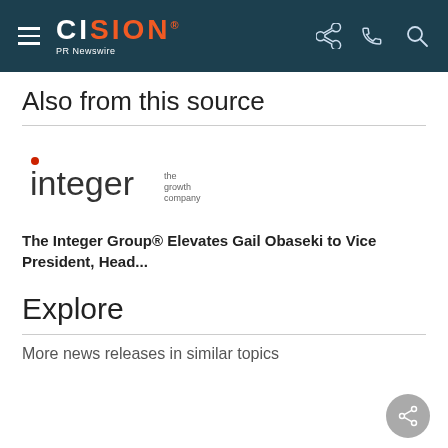CISION PR Newswire
Also from this source
[Figure (logo): Integer the growth company logo]
The Integer Group® Elevates Gail Obaseki to Vice President, Head...
Explore
More news releases in similar topics